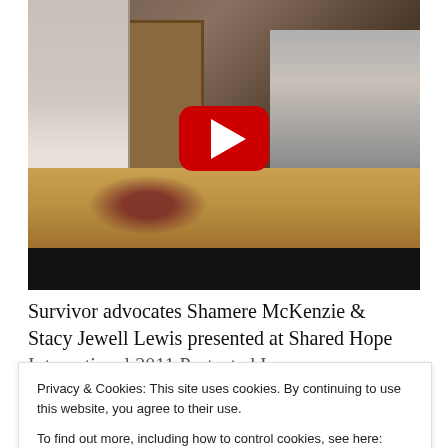[Figure (screenshot): YouTube video thumbnail showing two people in a conference/event room setting with a red YouTube play button overlay in the center]
Survivor advocates Shamere McKenzie & Stacy Jewell Lewis presented at Shared Hope International 2011 Protected Innocence
Privacy & Cookies: This site uses cookies. By continuing to use this website, you agree to their use. To find out more, including how to control cookies, see here: Cookie Policy